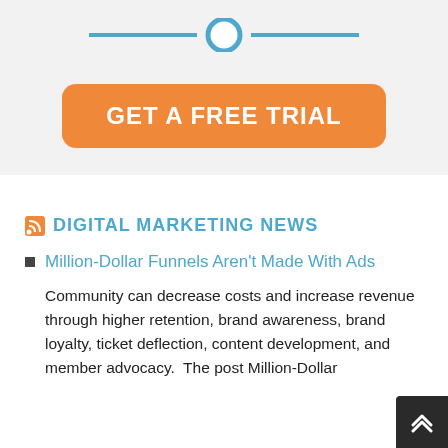[Figure (illustration): A horizontal slider track with a circular handle in the center, rendered in blue/teal color on a light gray background.]
[Figure (illustration): An orange rounded-rectangle call-to-action button with white bold text reading 'GET A FREE TRIAL'.]
DIGITAL MARKETING NEWS
Million-Dollar Funnels Aren't Made With Ads
Community can decrease costs and increase revenue through higher retention, brand awareness, brand loyalty, ticket deflection, content development, and member advocacy.  The post Million-Dollar